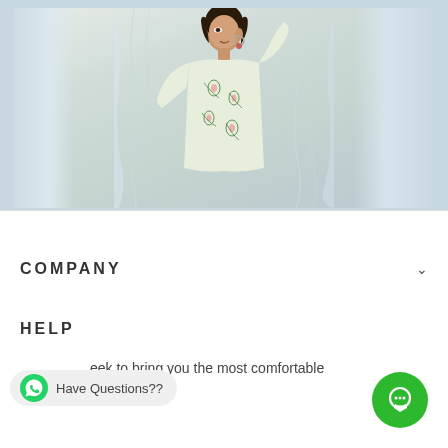[Figure (photo): A woman wearing a floral printed kurti/top with green and pink floral motif on light cream fabric, smiling and posing with one arm raised, with white curtain fabric in the background]
COMPANY
HELP
Have Questions??
eek to bring you the most comfortable